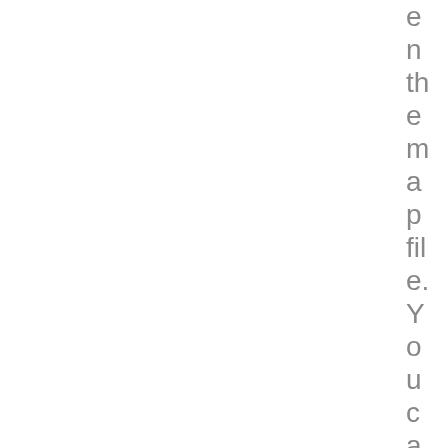e
n
th
e
m
a
p
fil
e.
Y
o
u
c
a
n
e
x
p